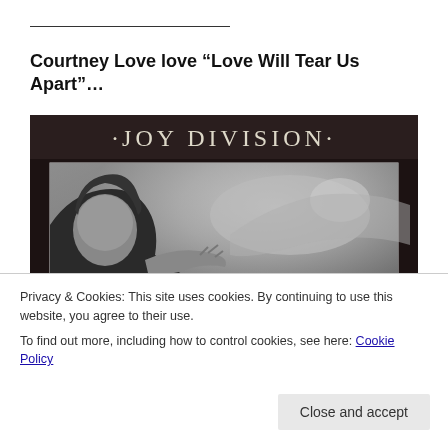Courtney Love love “Love Will Tear Us Apart”…
[Figure (photo): Joy Division album cover showing a black-and-white photograph of figures, with 'JOY DIVISION' text header at top, and a photo of Courtney Love superimposed in the foreground lower-left.]
Privacy & Cookies: This site uses cookies. By continuing to use this website, you agree to their use.
To find out more, including how to control cookies, see here: Cookie Policy
Close and accept